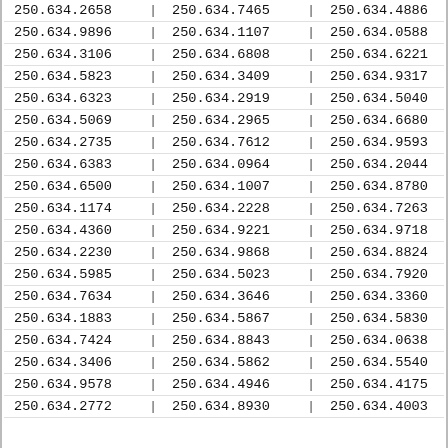| Col1 | Sep | Col2 | Sep | Col3 | Sep |
| --- | --- | --- | --- | --- | --- |
| 250.634.2658 | | | 250.634.7465 | | | 250.634.4886 | | |
| 250.634.9896 | | | 250.634.1107 | | | 250.634.0588 | | |
| 250.634.3106 | | | 250.634.6808 | | | 250.634.6221 | | |
| 250.634.5823 | | | 250.634.3409 | | | 250.634.9317 | | |
| 250.634.6323 | | | 250.634.2919 | | | 250.634.5040 | | |
| 250.634.5069 | | | 250.634.2965 | | | 250.634.6680 | | |
| 250.634.2735 | | | 250.634.7612 | | | 250.634.9593 | | |
| 250.634.6383 | | | 250.634.0964 | | | 250.634.2044 | | |
| 250.634.6500 | | | 250.634.1007 | | | 250.634.8780 | | |
| 250.634.1174 | | | 250.634.2228 | | | 250.634.7263 | | |
| 250.634.4360 | | | 250.634.9221 | | | 250.634.9718 | | |
| 250.634.2230 | | | 250.634.9868 | | | 250.634.8824 | | |
| 250.634.5985 | | | 250.634.5023 | | | 250.634.7920 | | |
| 250.634.7634 | | | 250.634.3646 | | | 250.634.3360 | | |
| 250.634.1883 | | | 250.634.5867 | | | 250.634.5830 | | |
| 250.634.7424 | | | 250.634.8843 | | | 250.634.0638 | | |
| 250.634.3406 | | | 250.634.5862 | | | 250.634.5540 | | |
| 250.634.9578 | | | 250.634.4946 | | | 250.634.4175 | | |
| 250.634.2772 | | | 250.634.8930 | | | 250.634.4003 | | |